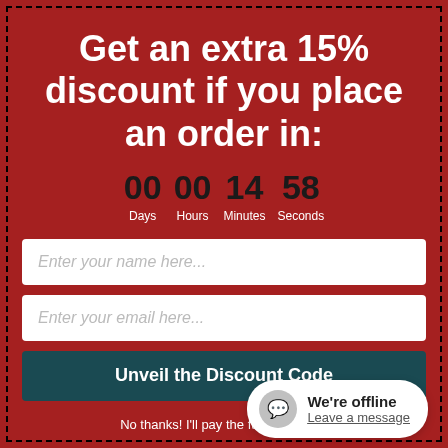Get an extra 15% discount if you place an order in:
00 Days  00 Hours  14 Minutes  58 Seconds
Enter your name here...
Enter your email here...
Unveil the Discount Code
No thanks! I'll pay the full price later.
We're offline
Leave a message